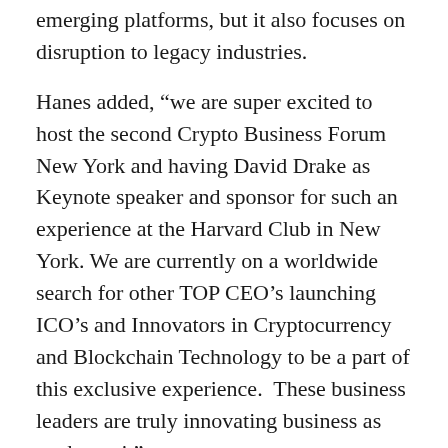emerging platforms, but it also focuses on disruption to legacy industries.
Hanes added, “we are super excited to host the second Crypto Business Forum New York and having David Drake as Keynote speaker and sponsor for such an experience at the Harvard Club in New York. We are currently on a worldwide search for other TOP CEO’s launching ICO’s and Innovators in Cryptocurrency and Blockchain Technology to be a part of this exclusive experience.  These business leaders are truly innovating business as we know it”
What others are saying about the inaugural event.